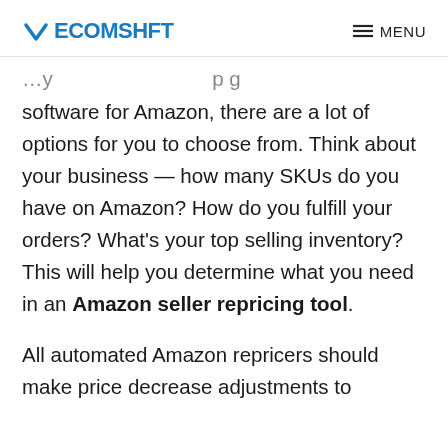ECOMSHFT  MENU
software for Amazon, there are a lot of options for you to choose from. Think about your business — how many SKUs do you have on Amazon? How do you fulfill your orders? What's your top selling inventory? This will help you determine what you need in an Amazon seller repricing tool.
All automated Amazon repricers should make price decrease adjustments to